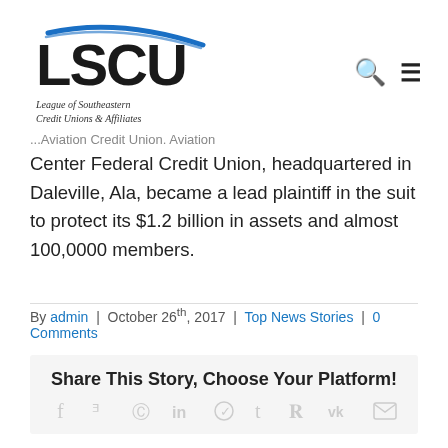[Figure (logo): LSCU - League of Southeastern Credit Unions & Affiliates logo with blue swoosh]
Aviation Center Federal Credit Union, headquartered in Daleville, Ala, became a lead plaintiff in the suit to protect its $1.2 billion in assets and almost 100,0000 members.
By admin | October 26th, 2017 | Top News Stories | 0 Comments
Share This Story, Choose Your Platform!
[Figure (infographic): Social share icons: Facebook, Twitter, Reddit, LinkedIn, WhatsApp, Tumblr, Pinterest, VK, Email]